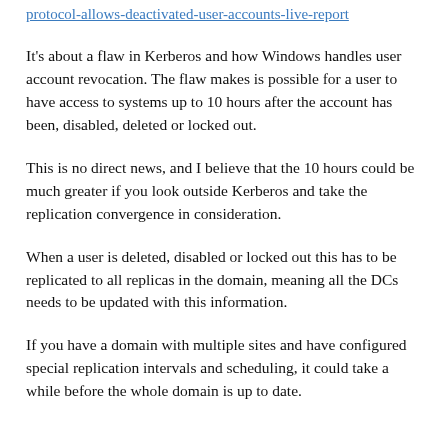protocol-allows-deactivated-user-accounts-live-report
It's about a flaw in Kerberos and how Windows handles user account revocation. The flaw makes is possible for a user to have access to systems up to 10 hours after the account has been, disabled, deleted or locked out.
This is no direct news, and I believe that the 10 hours could be much greater if you look outside Kerberos and take the replication convergence in consideration.
When a user is deleted, disabled or locked out this has to be replicated to all replicas in the domain, meaning all the DCs needs to be updated with this information.
If you have a domain with multiple sites and have configured special replication intervals and scheduling, it could take a while before the whole domain is up to date.